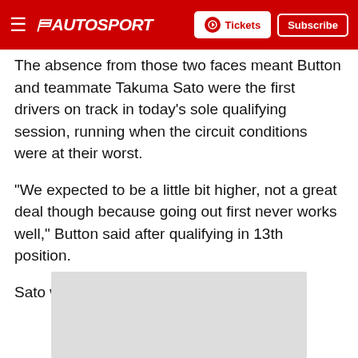AUTOSPORT — Tickets | Subscribe
The absence from those two faces meant Button and teammate Takuma Sato were the first drivers on track in today's sole qualifying session, running when the circuit conditions were at their worst.
"We expected to be a little bit higher, not a great deal though because going out first never works well," Button said after qualifying in 13th position.
Sato was down in 16th.
[Figure (photo): A grey placeholder image block below the article text]